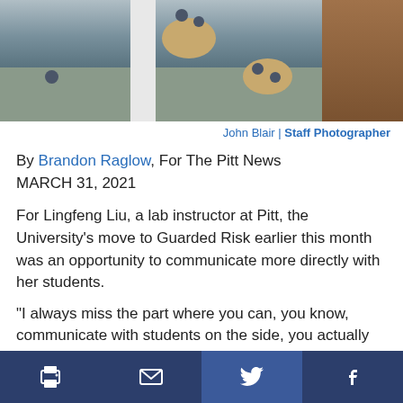[Figure (photo): Aerial view of a university library or study space with round wooden tables, chairs, and students studying, viewed from above. A white pillar is visible on the left and wooden paneling on the right.]
John Blair | Staff Photographer
By Brandon Raglow, For The Pitt News
MARCH 31, 2021
For Lingfeng Liu, a lab instructor at Pitt, the University's move to Guarded Risk earlier this month was an opportunity to communicate more directly with her students.
“I always miss the part where you can, you know, communicate with students on the side, you actually see their expression, get instant feedback,” Liu said. “I want to see what makes sense to students and if we